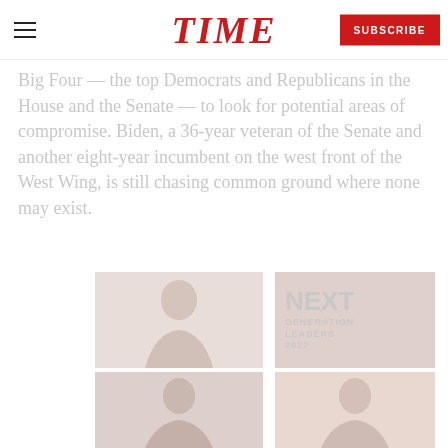TIME | SUBSCRIBE
Big Four — the top Democrats and Republicans in the House and the Senate — to look for potential areas of compromise. Biden, a 36-year veteran of the Senate and another eight-year incumbent on the west front of the West Wing, is still chasing common ground where none may exist.
[Figure (photo): Photo collage: a person speaking at top left, a red promotional box reading NEXT GENERATION LEADERS at top right, two additional portrait photos at the bottom left and right.]